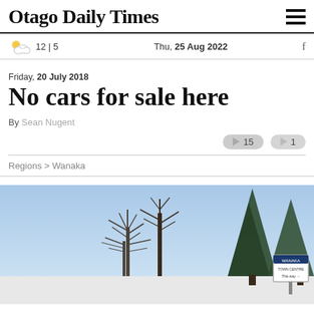Otago Daily Times
12 | 5   Thu, 25 Aug 2022
Friday, 20 July 2018
No cars for sale here
By Sean Nugent
15   1
Regions > Wanaka
[Figure (photo): Outdoor scene with bare winter trees and conifer trees against a clear blue sky, with a sign visible in the lower right corner]